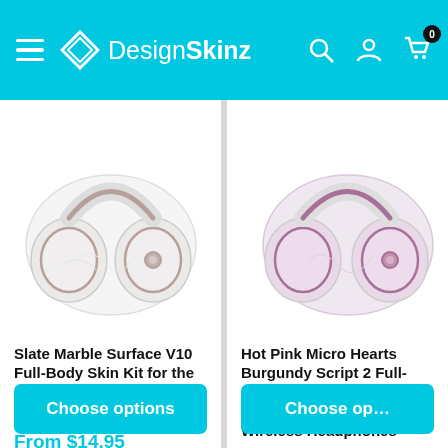DesignSkinz
[Figure (photo): White marble-textured Beats by Dre Solo 3 Wireless headphones product photo]
Slate Marble Surface V10 Full-Body Skin Kit for the Beats by Dre Solo 3 Wireless Headphones
From $14.95
Choose options
[Figure (photo): Pink and purple patterned Beats by Dre Solo 3 Wireless headphones product photo]
Hot Pink Micro Heather Burgundy Script 2 Full-Body Skin Kit for the Beats by Dre Solo 3 Wireless Headphones
From $14.95
Choose options